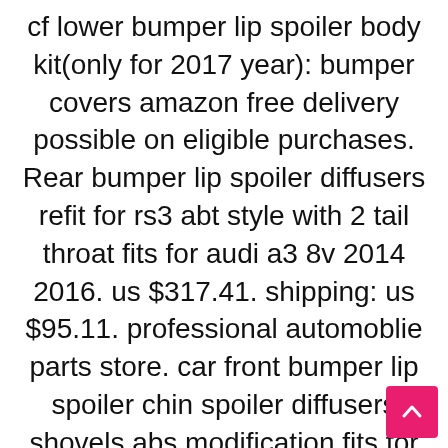cf lower bumper lip spoiler body kit(only for 2017 year): bumper covers amazon free delivery possible on eligible purchases. Rear bumper lip spoiler diffusers refit for rs3 abt style with 2 tail throat fits for audi a3 8v 2014 2016. us $317.41. shipping: us $95.11. professional automoblie parts store. car front bumper lip spoiler chin spoiler diffusers shovels abs modification fits for audi a3 s3 8v sports 2014 2015 2016. Carbon fiber rear bumper diffuser lip spoiler fit for audi s3 a3 sline 2017 2019 (fits: audi a3) new (other): business. eur 407.62. was: eur 429.08 5% off. or best offer. free international postage.